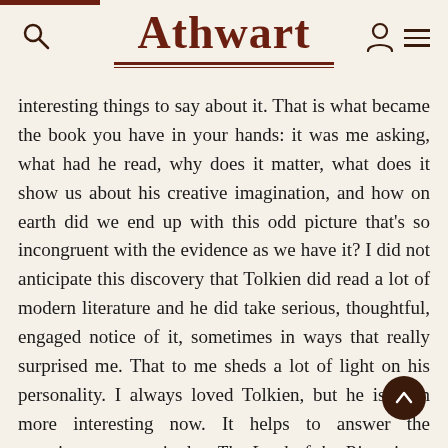Athwart
interesting things to say about it. That is what became the book you have in your hands: it was me asking, what had he read, why does it matter, what does it show us about his creative imagination, and how on earth did we end up with this odd picture that's so incongruent with the evidence as we have it? I did not anticipate this discovery that Tolkien did read a lot of modern literature and he did take serious, thoughtful, engaged notice of it, sometimes in ways that really surprised me. That to me sheds a lot of light on his personality. I always loved Tolkien, but he is even more interesting now. It helps to answer the question, is that The Lord of the Rings is so powerful fo...e